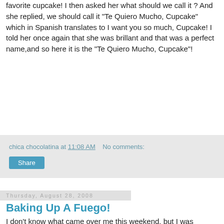favorite cupcake! I then asked her what should we call it ? And she replied, we should call it "Te Quiero Mucho, Cupcake" which in Spanish translates to I want you so much, Cupcake! I told her once again that she was brillant and that was a perfect name,and so here it is the "Te Quiero Mucho, Cupcake"!
chica chocolatina at 11:08 AM   No comments:
Share
Thursday, August 28, 2008
Baking Up A Fuego!
I don't know what came over me this weekend, but I was